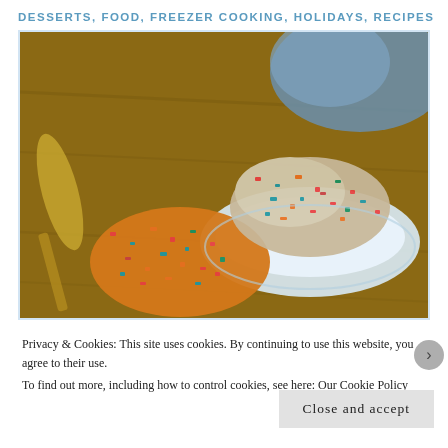DESSERTS, FOOD, FREEZER COOKING, HOLIDAYS, RECIPES
[Figure (photo): Colorful rice crispy treat cookies with red, blue, orange, and green sprinkles/cereal pieces piled on a blue serving dish on a wooden table, with a blue cloth napkin and spoon in the background.]
Privacy & Cookies: This site uses cookies. By continuing to use this website, you agree to their use.
To find out more, including how to control cookies, see here: Our Cookie Policy